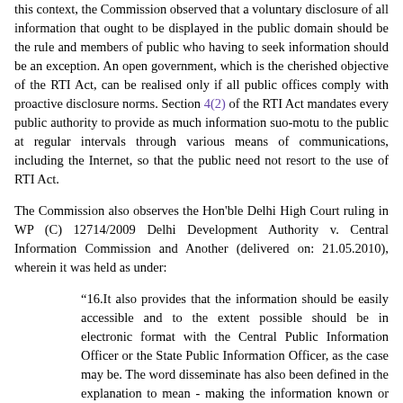this context, the Commission observed that a voluntary disclosure of all information that ought to be displayed in the public domain should be the rule and members of public who having to seek information should be an exception. An open government, which is the cherished objective of the RTI Act, can be realised only if all public offices comply with proactive disclosure norms. Section 4(2) of the RTI Act mandates every public authority to provide as much information suo-motu to the public at regular intervals through various means of communications, including the Internet, so that the public need not resort to the use of RTI Act.
The Commission also observes the Hon'ble Delhi High Court ruling in WP (C) 12714/2009 Delhi Development Authority v. Central Information Commission and Another (delivered on: 21.05.2010), wherein it was held as under:
“16.It also provides that the information should be easily accessible and to the extent possible should be in electronic format with the Central Public Information Officer or the State Public Information Officer, as the case may be. The word disseminate has also been defined in the explanation to mean - making the information known or communicating the information to the public through notice boards, newspapers, public announcements, media broadcasts, the internet, etc. It is, therefore, clear from a plain reading of Section 4 of the RTI Act that the information, which a public authority is obliged to publish under the said section should be